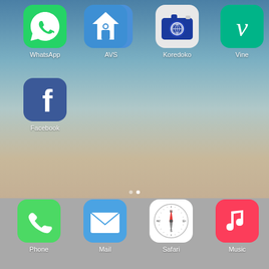[Figure (screenshot): iOS home screen showing app icons: WhatsApp, AVS, Koredoko, Vine, Facebook in main area; Phone, Mail, Safari, Music in dock. Blue-to-tan gradient background.]